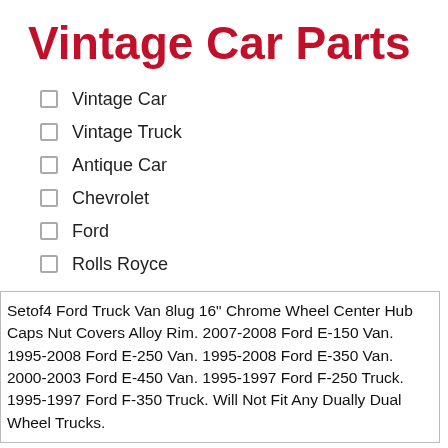Vintage Car Parts
Vintage Car
Vintage Truck
Antique Car
Chevrolet
Ford
Rolls Royce
Setof4 Ford Truck Van 8lug 16" Chrome Wheel Center Hub Caps Nut Covers Alloy Rim. 2007-2008 Ford E-150 Van. 1995-2008 Ford E-250 Van. 1995-2008 Ford E-350 Van. 2000-2003 Ford E-450 Van. 1995-1997 Ford F-250 Truck. 1995-1997 Ford F-350 Truck. Will Not Fit Any Dually Dual Wheel Trucks.